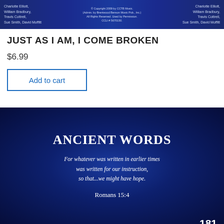[Figure (screenshot): Dark blue banner showing credits: Charlotte Elliott, William Bradbury, Travis Cottrell, Sue Smith, David Moffitt on left and right sides, copyright info in center]
JUST AS I AM, I COME BROKEN
$6.99
Add to cart
[Figure (screenshot): Dark blue gradient slide with number 181 in top right, title 'ANCIENT WORDS', italic verse 'For whatever was written in earlier times was written for our instruction, so that...we might have hope.', citation 'Romans 15:4']